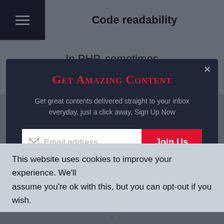Code readability
In PHP, sometimes your code can be
Get Amazing Content
Get great contents delivered straight to your inbox everyday, just a click away, Sign Up Now
Email address
Join Us
Secure and Spam free...
This website uses cookies to improve your experience. We'll assume you're ok with this, but you can opt-out if you wish.